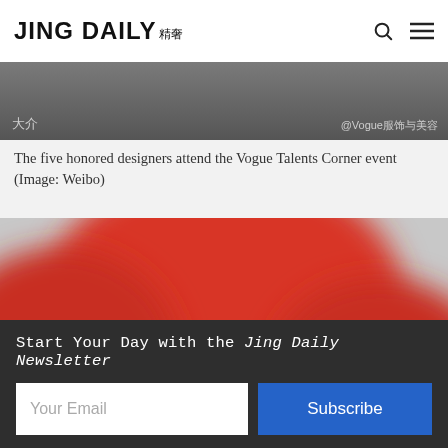JING DAILY 精奢
[Figure (photo): Partial view of a dark/grey toned image with Chinese text overlay '大介' and credit '@Vogue服饰与美容']
The five honored designers attend the Vogue Talents Corner event (Image: Weibo)
[Figure (photo): A blurred photo dominated by vivid red/coral tones, appearing to show a red cap or hat shape, partially cut off at the page bottom]
Start Your Day with the Jing Daily Newsletter
Your Email
Subscribe